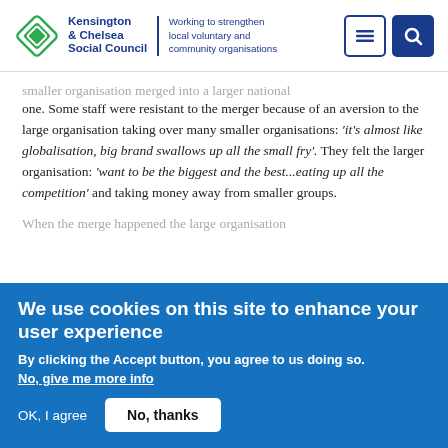Kensington & Chelsea Social Council — Working to strengthen local voluntary and community organisations
smaller organisation merged into a larger national one. Some staff were resistant to the merger because of an aversion to the large organisation taking over many smaller organisations: 'it's almost like globalisation, big brand swallows up all the small fry'. They felt the larger organisation: 'want to be the biggest and the best...eating up all the competition' and taking money away from smaller groups.
When the merge happened the large organisation
We use cookies on this site to enhance your user experience
By clicking the Accept button, you agree to us doing so.
No, give me more info
OK, I agree    No, thanks